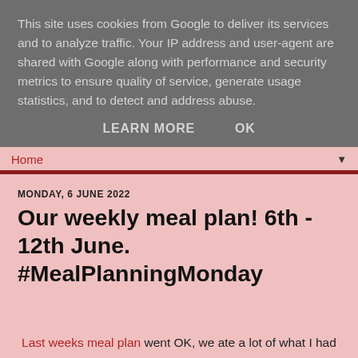This site uses cookies from Google to deliver its services and to analyze traffic. Your IP address and user-agent are shared with Google along with performance and security metrics to ensure quality of service, generate usage statistics, and to detect and address abuse.
LEARN MORE   OK
Home ▼
MONDAY, 6 JUNE 2022
Our weekly meal plan! 6th - 12th June. #MealPlanningMonday
Last weeks meal plan went OK, we ate a lot of what I had planned but changed things when we were out. At home we just ate snacky things like chicken pieces, pork ribs, sausage rolls, crisps and of course